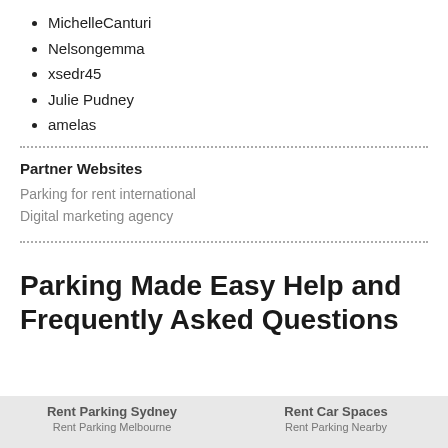MichelleCanturi
Nelsongemma
xsedr45
Julie Pudney
amelas
Partner Websites
Parking for rent international
Digital marketing agency
Parking Made Easy Help and Frequently Asked Questions
Rent Parking Sydney | Rent Car Spaces
Rent Parking Melbourne | Rent Parking Nearby